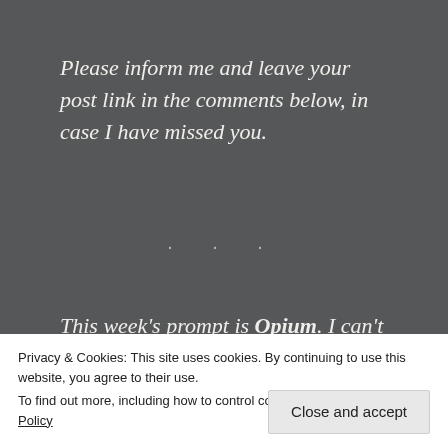Please inform me and leave your post link in the comments below, in case I have missed you.
. . .
This week's prompt is Opium. I can't wait to read what you come up with. Below is my 20-word story, I hope you'll like it. Now, hop on the wagon and tell me a tale!
Privacy & Cookies: This site uses cookies. By continuing to use this website, you agree to their use.
To find out more, including how to control cookies, see here: Cookie Policy
Close and accept